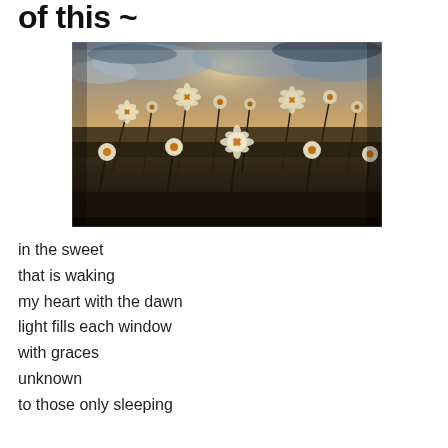of this ~
[Figure (photo): A field of white daisy-like wildflowers with orange centers photographed at dusk or dawn with a dramatic warm cloudy sky in the background, shallow depth of field, moody desaturated tones.]
in the sweet
that is waking
my heart with the dawn
light fills each window
with graces
unknown
to those only sleeping